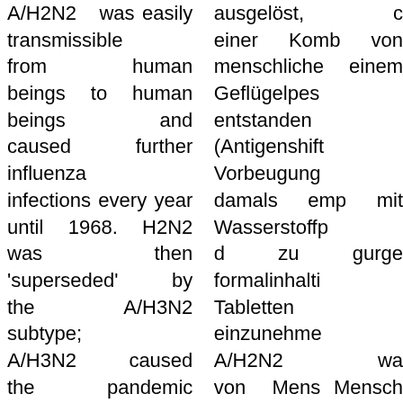A/H2N2 was easily transmissible from human beings to human beings and caused further influenza infections every year until 1968. H2N2 was then 'superseded' by the A/H3N2 subtype; A/H3N2 caused the pandemic known as Hong Kong flu in 1968 and 1969.
Anthr...
ausgelöst, durch einer Kombination von menschliche einem Geflügelpes entstanden (Antigenshift Vorbeugung damals emp mit Wasserstoffp d zu gurge formalinhalti Tabletten einzunehme A/H2N2 wa von Mens Mensch übertragbar verursachte